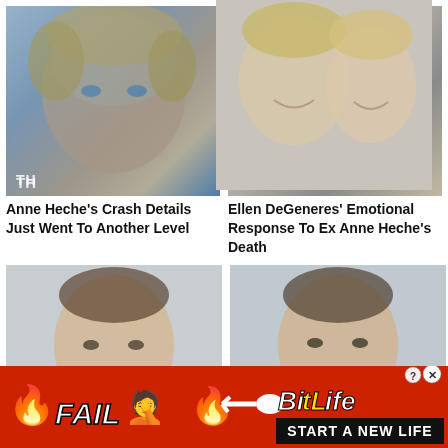[Figure (photo): Close-up portrait of Anne Heche, blonde hair, blue background with TH watermark]
[Figure (photo): Ellen DeGeneres and Anne Heche together, smiling, black and white formal attire]
Anne Heche's Crash Details Just Went To Another Level
Ellen DeGeneres' Emotional Response To Ex Anne Heche's Death
[Figure (photo): Young boy/teen, dark hair, looking up slightly]
[Figure (photo): Same young boy/teen, dark hair, looking slightly different angle]
[Figure (infographic): BitLife advertisement banner: red background, FAIL text, emoji, flames, BitLife logo, START A NEW LIFE tagline]